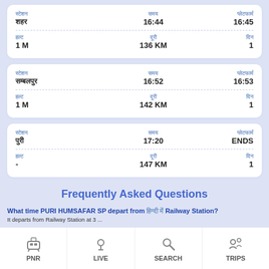| स्टेशन | समय | प्लेटफार्म |
| --- | --- | --- |
| स्टेशन
शहर | समय
16:44 | प्लेटफार्म
16:45 |
| हल्ट
1 M | दूरी
136 KM | दिन
1 |
| स्टेशन | समय | प्लेटफार्म |
| --- | --- | --- |
| स्टेशन
सम्बलपुर | समय
16:52 | प्लेटफार्म
16:53 |
| हल्ट
1 M | दूरी
142 KM | दिन
1 |
| स्टेशन | समय | प्लेटफार्म |
| --- | --- | --- |
| स्टेशन
पुरी | समय
17:20 | प्लेटफार्म
ENDS |
| हल्ट
- | दूरी
147 KM | दिन
1 |
Frequently Asked Questions
What time PURI HUMSAFAR SP depart from [station] Railway Station?
It departs from Railway Station at 3 ...